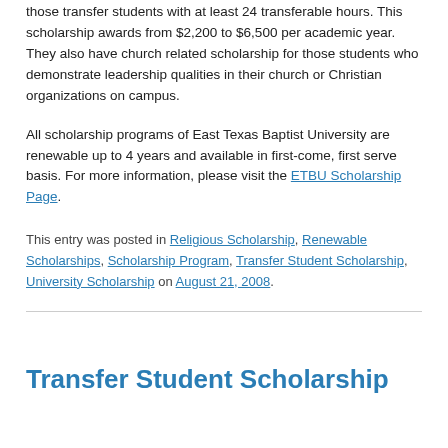those transfer students with at least 24 transferable hours. This scholarship awards from $2,200 to $6,500 per academic year. They also have church related scholarship for those students who demonstrate leadership qualities in their church or Christian organizations on campus.
All scholarship programs of East Texas Baptist University are renewable up to 4 years and available in first-come, first serve basis. For more information, please visit the ETBU Scholarship Page.
This entry was posted in Religious Scholarship, Renewable Scholarships, Scholarship Program, Transfer Student Scholarship, University Scholarship on August 21, 2008.
Transfer Student Scholarship